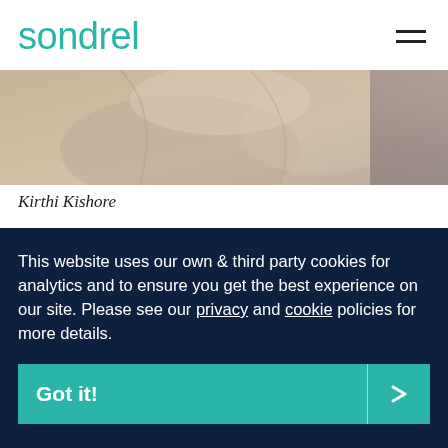sondrel
[Figure (photo): Close-up photo of a person in a beige/tan draped garment, cropped at the top]
Kirthi Kishore
Founder and CEO, Graham Curren, said, “The success of our business is built on our reputation for quality and
This website uses our own & third party cookies for analytics and to ensure you get the best experience on our site. Please see our privacy and cookie policies for more details.
Got it!